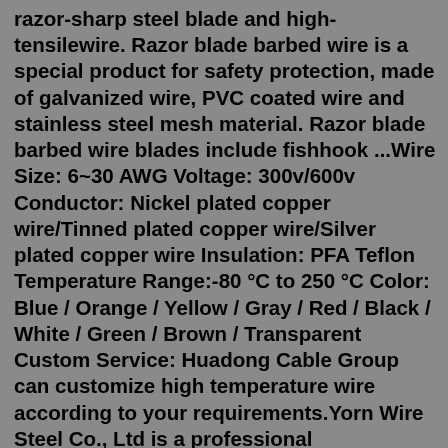razor-sharp steel blade and high-tensilewire. Razor blade barbed wire is a special product for safety protection, made of galvanized wire, PVC coated wire and stainless steel mesh material. Razor blade barbed wire blades include fishhook ...Wire Size: 6~30 AWG Voltage: 300v/600v Conductor: Nickel plated copper wire/Tinned plated copper wire/Silver plated copper wire Insulation: PFA Teflon Temperature Range:-80 °C to 250 °C Color: Blue / Orange / Yellow / Gray / Red / Black / White / Green / Brown / Transparent Custom Service: Huadong Cable Group can customize high temperature wire according to your requirements.Yorn Wire Steel Co., Ltd is a professional manufacturer, Wholesaler and Retailer of all kinds of wire and wire mesh products, since 1992 Located in Phnom Penh, Cambodia. Our major products include chain link mesh and barbed wire. We also import razor wire, galvanized wire, netting against mosquito, welded wire mesh, hexagonal wire netting ...Description. Fits on existing auger drives.